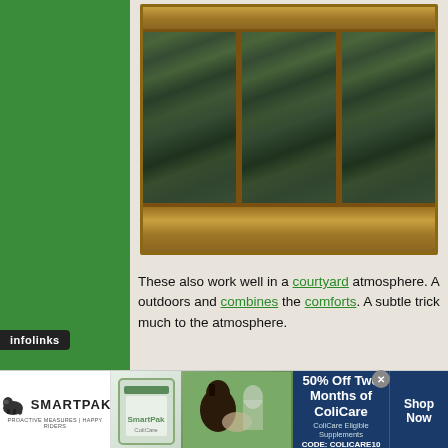[Figure (photo): Indoor water wall fountain with three slate panels in a wooden/burl frame, lit from above with warm lights]
These also work well in a courtyard atmosphere. A[...] outdoors and combines the comforts. A subtle tric[...] much to the atmosphere.
[Figure (screenshot): SmartPak advertisement banner: 50% Off Two Months of ColiCare, ColiCare Eligible Supplements, CODE: COLICARE10, Shop Now button]
infolinks